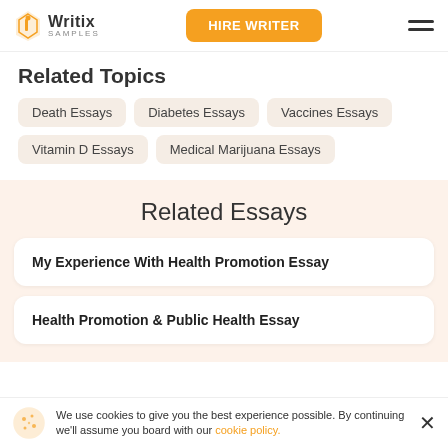Writix Samples | HIRE WRITER
Related Topics
Death Essays
Diabetes Essays
Vaccines Essays
Vitamin D Essays
Medical Marijuana Essays
Related Essays
My Experience With Health Promotion Essay
Health Promotion & Public Health Essay
We use cookies to give you the best experience possible. By continuing we'll assume you board with our cookie policy.